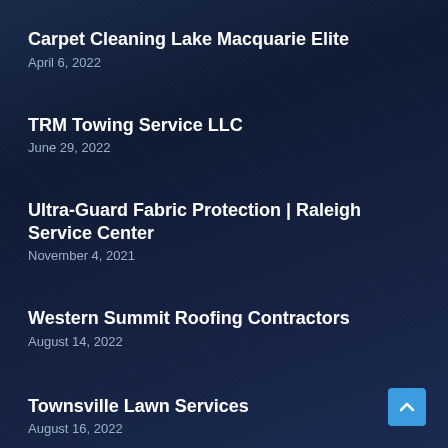Carpet Cleaning Lake Macquarie Elite
April 6, 2022
TRM Towing Service LLC
June 29, 2022
Ultra-Guard Fabric Protection | Raleigh Service Center
November 4, 2021
Western Summit Roofing Contractors
August 14, 2022
Townsville Lawn Services
August 16, 2022